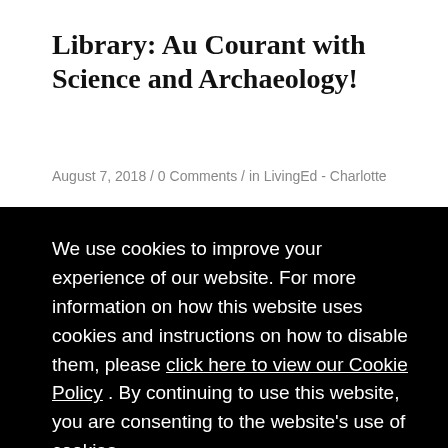Library: Au Courant with Science and Archaeology!
August 7, 2018 / 0 Comments / in LivingEd - Charlotte
We use cookies to improve your experience of our website. For more information on how this website uses cookies and instructions on how to disable them, please click here to view our Cookie Policy . By continuing to use this website, you are consenting to the website's use of cookies.
Got It!